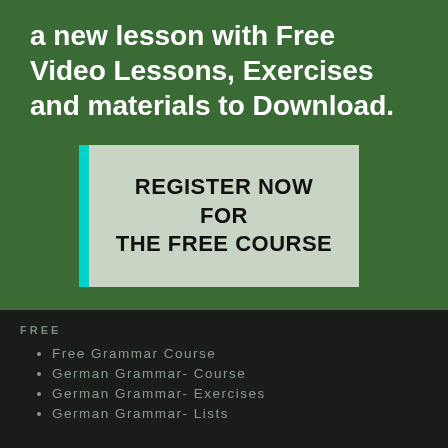a new lesson with Free Video Lessons, Exercises and materials to Download.
REGISTER NOW FOR THE FREE COURSE
FREE
Free Grammar Course
German Grammar- Course
German Grammar- Exercises
German Grammar- Lists